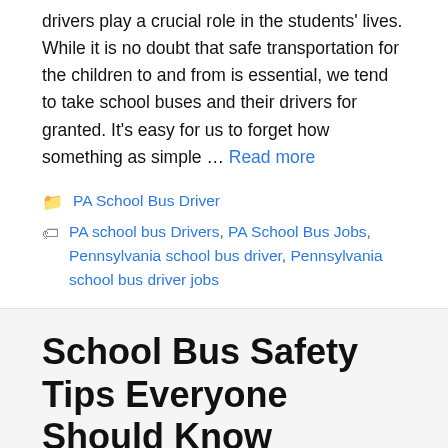drivers play a crucial role in the students' lives. While it is no doubt that safe transportation for the children to and from is essential, we tend to take school buses and their drivers for granted. It's easy for us to forget how something as simple … Read more
Categories: PA School Bus Driver
Tags: PA school bus Drivers, PA School Bus Jobs, Pennsylvania school bus driver, Pennsylvania school bus driver jobs
School Bus Safety Tips Everyone Should Know
June 7, 2022 by ybwAdmin